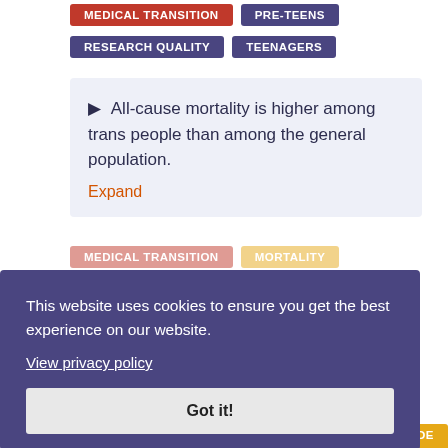MEDICAL TRANSITION
PRE-TEENS
RESEARCH QUALITY
TEENAGERS
▶ All-cause mortality is higher among trans people than among the general population. Expand
This website uses cookies to ensure you get the best experience on our website.
View privacy policy
Got it!
MEDICAL TRANSITION
MORTALITY
PUBERTY BLOCKERS
RESEARCH QUALITY
SUICIDE